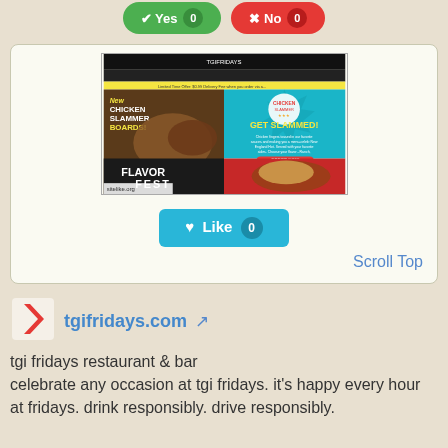[Figure (screenshot): TGI Fridays website screenshot showing Chicken Slammer Boards promotion with 'Get Slammed!' offer and 'Flavor Fest' section. sitelike.org watermark visible.]
Like 0
Scroll Top
tgifridays.com
tgi fridays restaurant & bar
celebrate any occasion at tgi fridays. it's happy every hour at fridays. drink responsibly. drive responsibly.